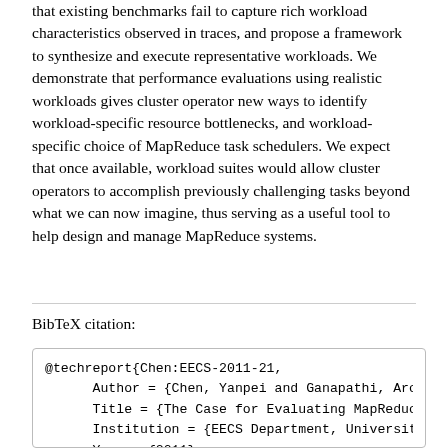that existing benchmarks fail to capture rich workload characteristics observed in traces, and propose a framework to synthesize and execute representative workloads. We demonstrate that performance evaluations using realistic workloads gives cluster operator new ways to identify workload-specific resource bottlenecks, and workload-specific choice of MapReduce task schedulers. We expect that once available, workload suites would allow cluster operators to accomplish previously challenging tasks beyond what we can now imagine, thus serving as a useful tool to help design and manage MapReduce systems.
BibTeX citation:
@techreport{Chen:EECS-2011-21,
      Author = {Chen, Yanpei and Ganapathi, Arc
      Title = {The Case for Evaluating MapReduc
      Institution = {EECS Department, Universit
      Year = {2011},
      Month = {Mar}